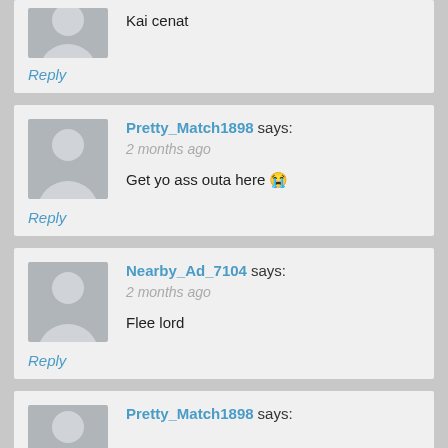Kai cenat
Reply
Pretty_Match1898 says:
2 months ago
Get yo ass outa here 😭
Reply
Nearby_Ad_7104 says:
2 months ago
Flee lord
Reply
Pretty_Match1898 says: